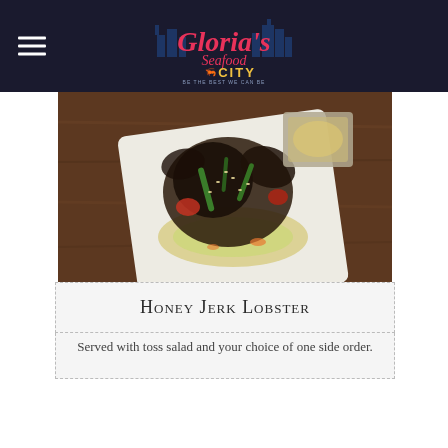Gloria's Seafood City
[Figure (photo): A plate of Honey Jerk Lobster served on a white square plate with toss salad, vegetables including peppers and tomatoes, sesame seeds, and a side dish visible in the background. Plated on a wooden table surface.]
Honey Jerk Lobster
Served with toss salad and your choice of one side order.